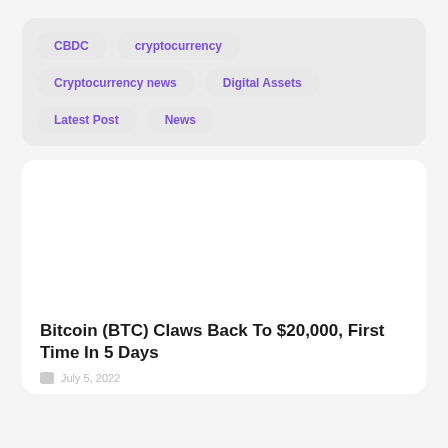CBDC
cryptocurrency
Cryptocurrency news
Digital Assets
Latest Post
News
[Figure (photo): Article image placeholder for Bitcoin article]
Bitcoin (BTC) Claws Back To $20,000, First Time In 5 Days
July 5, 2022